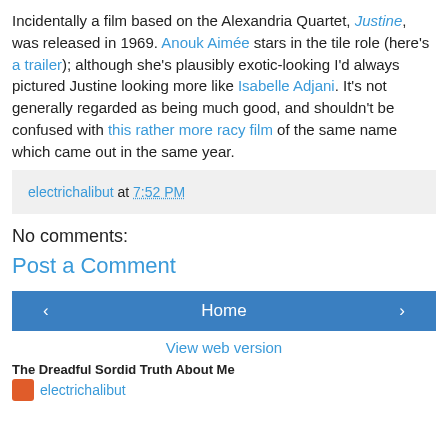Incidentally a film based on the Alexandria Quartet, Justine, was released in 1969. Anouk Aimée stars in the tile role (here's a trailer); although she's plausibly exotic-looking I'd always pictured Justine looking more like Isabelle Adjani. It's not generally regarded as being much good, and shouldn't be confused with this rather more racy film of the same name which came out in the same year.
electrichalibut at 7:52 PM
No comments:
Post a Comment
‹  Home  ›
View web version
The Dreadful Sordid Truth About Me
electrichalibut